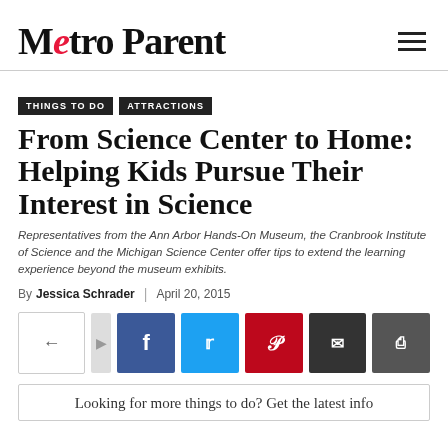Metro Parent
THINGS TO DO | ATTRACTIONS
From Science Center to Home: Helping Kids Pursue Their Interest in Science
Representatives from the Ann Arbor Hands-On Museum, the Cranbrook Institute of Science and the Michigan Science Center offer tips to extend the learning experience beyond the museum exhibits.
By Jessica Schrader | April 20, 2015
Looking for more things to do? Get the latest info